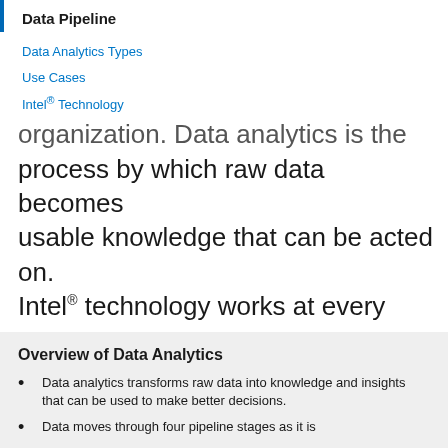Data Pipeline
Data Analytics Types
Use Cases
Intel® Technology
organization. Data analytics is the process by which raw data becomes usable knowledge that can be acted on. Intel® technology works at every stage of the data pipeline to make it easier for organizations to collect and analyze data for practically any purpose.
Overview of Data Analytics
Data analytics transforms raw data into knowledge and insights that can be used to make better decisions.
Data moves through four pipeline stages as it is